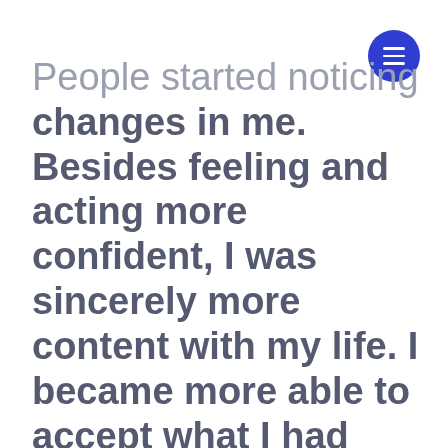[Figure (other): Blue circular hamburger menu button with three white horizontal lines]
People started noticing changes in me. Besides feeling and acting more confident, I was sincerely more content with my life. I became more able to accept what I had control over - my attitude and response to situations - and let go of